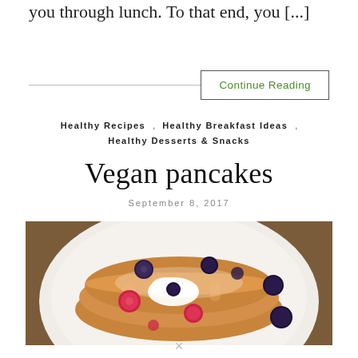you through lunch. To that end, you [...]
Continue Reading
Healthy Recipes , Healthy Breakfast Ideas , Healthy Desserts & Snacks
Vegan pancakes
September 8, 2017
[Figure (photo): Overhead view of vegan pancakes on a white plate with blueberries, raspberries, whipped cream, and powdered sugar on a wooden table.]
×